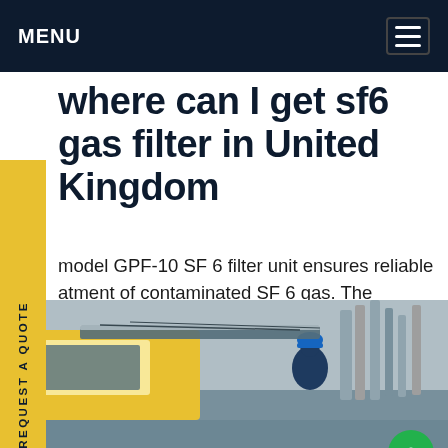MENU
where can I get sf6 gas filter in United Kingdom
model GPF-10 SF 6 filter unit ensures reliable atment of contaminated SF 6 gas. The particles nd in decomposed SF 6 gas, such as miniumfluoride (AlF 3) or copper fluoride (CuF 2) effectively retained by the integrated particle r, so that the operator does not come into itact with these substances.Get price
[Figure (photo): Industrial technician working on SF6 gas equipment — yellow service truck with industrial towers in background]